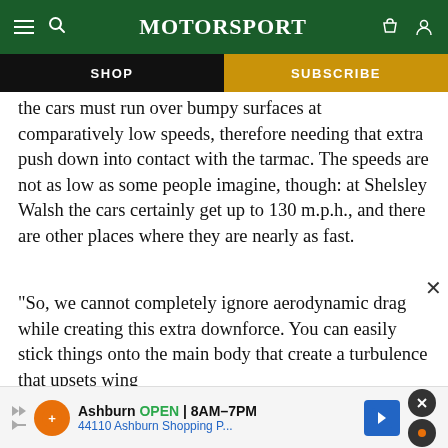Motor Sport — SHOP | SUBSCRIBE
the cars must run over bumpy surfaces at comparatively low speeds, therefore needing that extra push down into contact with the tarmac. The speeds are not as low as some people imagine, though: at Shelsley Walsh the cars certainly get up to 130 m.p.h., and there are other places where they are nearly as fast.
“So, we cannot completely ignore aerodynamic drag while creating this extra downforce. You can easily stick things onto the main body that create a turbulence that upsets wing pe[rformance]
[Figure (screenshot): Advertisement banner: Ashburn OPEN 8AM-7PM, 44110 Ashburn Shopping P...]